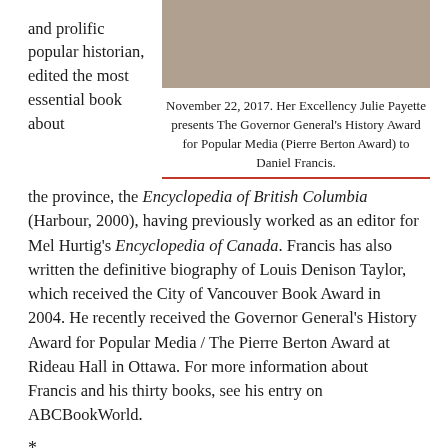and prolific popular historian, edited the most essential book about
[Figure (photo): Two people shaking hands at an awards ceremony]
November 22, 2017. Her Excellency Julie Payette presents The Governor General's History Award for Popular Media (Pierre Berton Award) to Daniel Francis.
the province, the Encyclopedia of British Columbia (Harbour, 2000), having previously worked as an editor for Mel Hurtig's Encyclopedia of Canada. Francis has also written the definitive biography of Louis Denison Taylor, which received the City of Vancouver Book Award in 2004. He recently received the Governor General's History Award for Popular Media / The Pierre Berton Award at Rideau Hall in Ottawa. For more information about Francis and his thirty books, see his entry on ABCBookWorld.
*
The Ormsby Review. More Books. More Reviews. More Often.
Reviews Editor: Richard Mackie